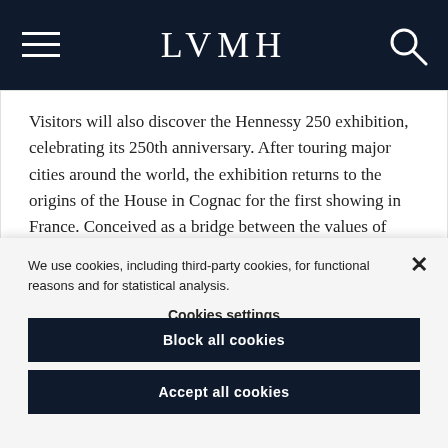LVMH
Visitors will also discover the Hennessy 250 exhibition, celebrating its 250th anniversary. After touring major cities around the world, the exhibition returns to the origins of the House in Cognac for the first showing in France. Conceived as a bridge between the values of Hennessy and contemporary art, the…
We use cookies, including third-party cookies, for functional reasons and for statistical analysis.
Cookies settings
Block all cookies
Accept all cookies